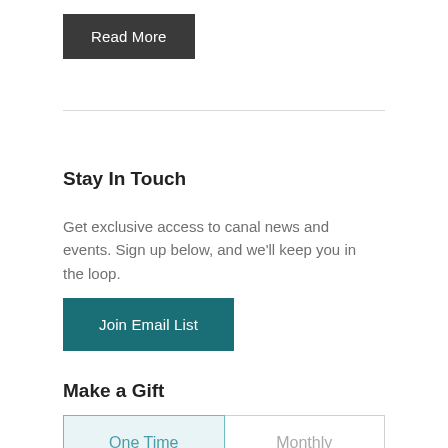Read More
Stay In Touch
Get exclusive access to canal news and events. Sign up below, and we'll keep you in the loop.
Join Email List
Make a Gift
One Time
Monthly